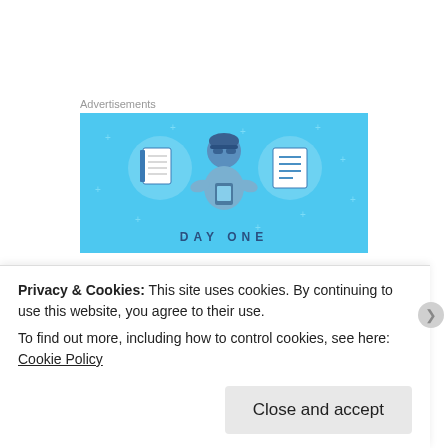Advertisements
[Figure (illustration): Day One app advertisement banner with light blue background showing a cartoon person holding a phone, flanked by two circular icons of a notebook and a list/planner. Text at bottom reads DAY ONE.]
And then it occurred to him.
He would make a warning and an example out of the
Privacy & Cookies: This site uses cookies. By continuing to use this website, you agree to their use. To find out more, including how to control cookies, see here: Cookie Policy
Close and accept